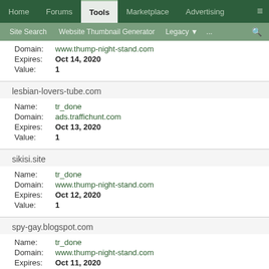Home | Forums | Tools | Marketplace | Advertising
Site Search | Website Thumbnail Generator | Legacy | ... | search
Domain: www.thump-night-stand.com
Expires: Oct 14, 2020
Value: 1
lesbian-lovers-tube.com
Name: tr_done
Domain: ads.traffichunt.com
Expires: Oct 13, 2020
Value: 1
sikisi.site
Name: tr_done
Domain: www.thump-night-stand.com
Expires: Oct 12, 2020
Value: 1
spy-gay.blogspot.com
Name: tr_done
Domain: www.thump-night-stand.com
Expires: Oct 11, 2020
Value: 1